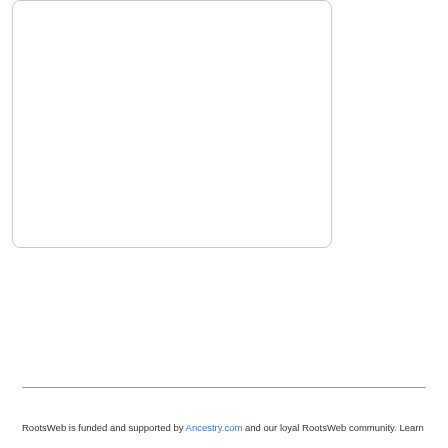[Figure (other): A white rounded rectangle box with light gray border, representing a content area or image placeholder]
RootsWeb is funded and supported by Ancestry.com and our loyal RootsWeb community. Learn